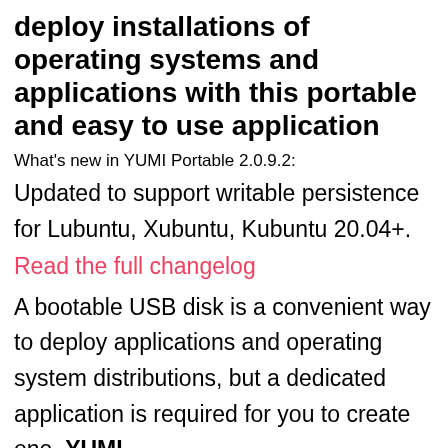deploy installations of operating systems and applications with this portable and easy to use application
What's new in YUMI Portable 2.0.9.2:
Updated to support writable persistence for Lubuntu, Xubuntu, Kubuntu 20.04+.
Read the full changelog
A bootable USB disk is a convenient way to deploy applications and operating system distributions, but a dedicated application is required for you to create one. YUMI